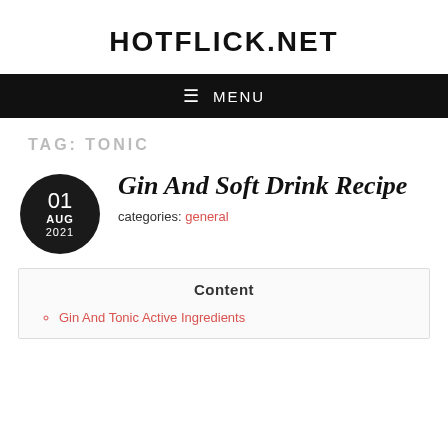HOTFLICK.NET
≡ MENU
TAG: TONIC
Gin And Soft Drink Recipe
categories: general
Content
Gin And Tonic Active Ingredients